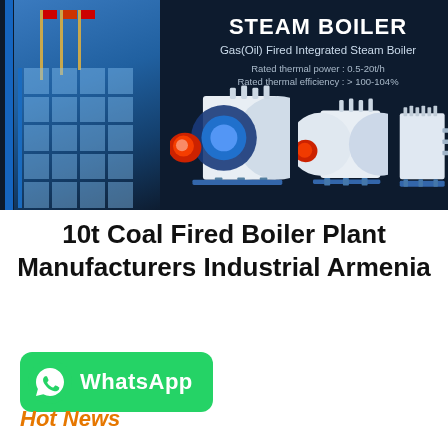[Figure (photo): Dark navy banner showing industrial steam boiler equipment. Left side has a building facade with flagpoles and glass curtain wall in blue tones. Right side shows multiple white steam boiler units with red/blue burner openings against a dark background. Text overlay shows STEAM BOILER heading with product specs.]
10t Coal Fired Boiler Plant Manufacturers Industrial Armenia
[Figure (logo): WhatsApp green rounded rectangle button with white phone icon and white bold WhatsApp text]
Hot News